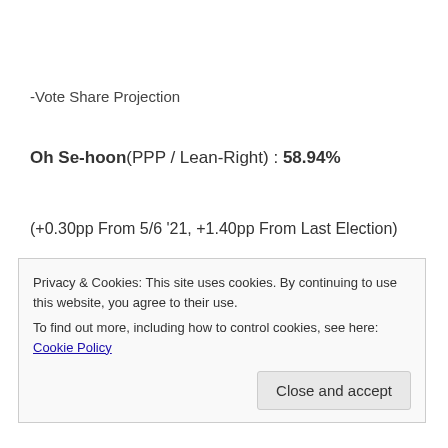-Vote Share Projection
Oh Se-hoon(PPP / Lean-Right) : 58.94%
(+0.30pp From 5/6 '21, +1.40pp From Last Election)
Song Young-gil(DPK / Lean-Left) : 37.85%
(+...pp From 5/6 '21, +...pp From Last Election)
Privacy & Cookies: This site uses cookies. By continuing to use this website, you agree to their use.
To find out more, including how to control cookies, see here: Cookie Policy